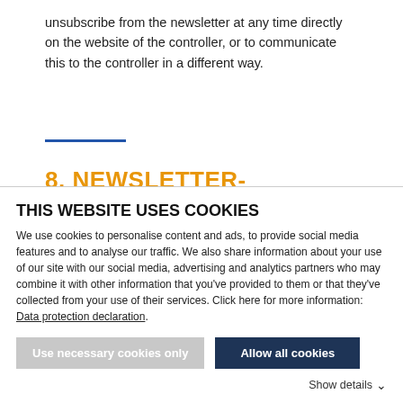unsubscribe from the newsletter at any time directly on the website of the controller, or to communicate this to the controller in a different way.
8. NEWSLETTER-
THIS WEBSITE USES COOKIES
We use cookies to personalise content and ads, to provide social media features and to analyse our traffic. We also share information about your use of our site with our social media, advertising and analytics partners who may combine it with other information that you've provided to them or that they've collected from your use of their services. Click here for more information: Data protection declaration.
Use necessary cookies only
Allow all cookies
Show details